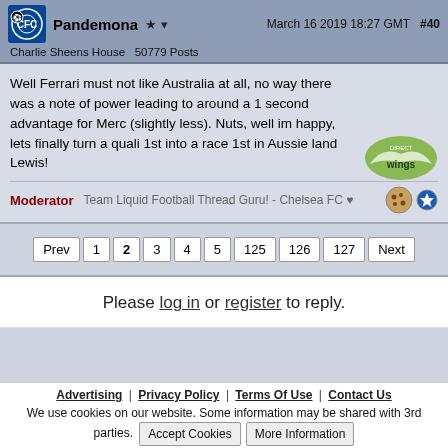Pandemona ★  March 16 2019 18:27 GMT  #40
Charlie Sheens House  50779 Posts
Well Ferrari must not like Australia at all, no way there was a note of power leading to around a 1 second advantage for Merc (slightly less). Nuts, well im happy, lets finally turn a quali 1st into a race 1st in Aussie land Lewis!
Moderator  Team Liquid Football Thread Guru! - Chelsea FC ♥
Prev 1 2 3 4 5 125 126 127 Next
Please log in or register to reply.
Advertising | Privacy Policy | Terms Of Use | Contact Us
We use cookies on our website. Some information may be shared with 3rd parties. Accept Cookies  More Information